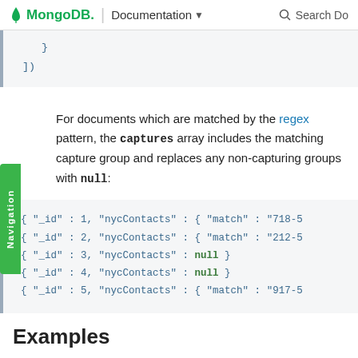MongoDB. | Documentation  Search Do
}
])
For documents which are matched by the regex pattern, the captures array includes the matching capture group and replaces any non-capturing groups with null:
{ "_id" : 1, "nycContacts" : { "match" : "718-5
{ "_id" : 2, "nycContacts" : { "match" : "212-5
{ "_id" : 3, "nycContacts" : null }
{ "_id" : 4, "nycContacts" : null }
{ "_id" : 5, "nycContacts" : { "match" : "917-5
Examples